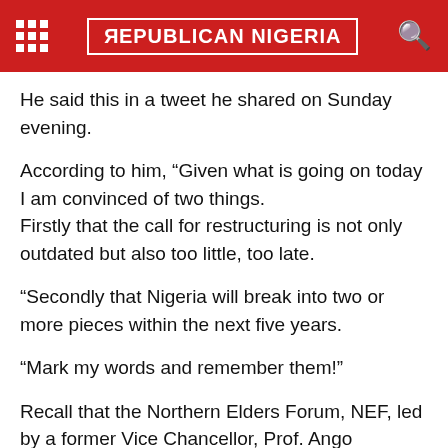REPUBLICAN NIGERIA
He said this in a tweet he shared on Sunday evening.
According to him, “Given what is going on today I am convinced of two things.
Firstly that the call for restructuring is not only outdated but also too little, too late.
“Secondly that Nigeria will break into two or more pieces within the next five years.
“Mark my words and remember them!”
Recall that the Northern Elders Forum, NEF, led by a former Vice Chancellor, Prof. Ango Abdullahi had on